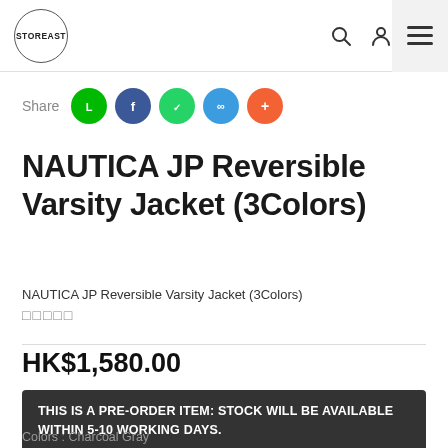STOREAST
Share
NAUTICA JP Reversible Varsity Jacket (3Colors)
NAUTICA JP Reversible Varsity Jacket (3Colors)
□□□□□
HK$1,580.00
THIS IS A PRE-ORDER ITEM: STOCK WILL BE AVAILABLE WITHIN 5-10 WORKING DAYS.
Colors : Charcoal Gray